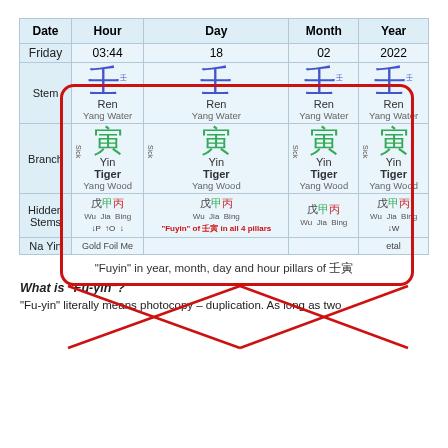| Date | Hour | Day | Month | Year |
| --- | --- | --- | --- | --- |
| Friday | 03:44 | 18 | 02 | 2022 |
| Stem | 壬 Ren Yang Water | 壬 Ren Yang Water | 壬 Ren Yang Water | 壬 Ren Yang Water |
| Branch | 寅 Sick Yin Tiger Yang Wood | 寅 Sick Yin Tiger Yang Wood | 寅 Sick Yin Tiger Yang Wood | 寅 Sick Yin Tiger Yang Wood |
| Hidden Stems | 戊甲丙 Wu Jia Bing ↓P ↑O ↓ | 戊甲丙 Wu Jia Bing | 戊甲丙 Wu Jia Bing | 戊甲丙 Wu Jia Bing ↓W |
| Na Yin | Gold Foil Me |  |  | etal |
"Fuyin" in year, month, day and hour pillars of 壬寅
What is "Fu-yin"?
"Fu-yin" literally means photocopy – duplication. As long as two